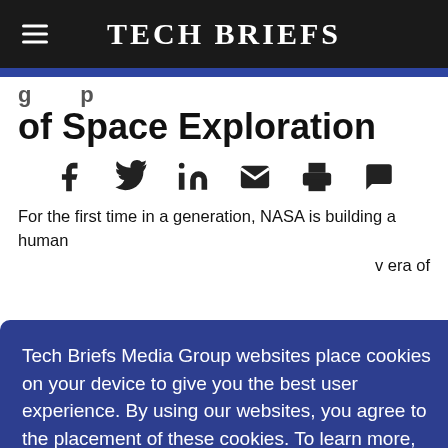Tech Briefs
of Space Exploration
[Figure (infographic): Social share icons: Facebook, Twitter, LinkedIn, Email, Print, Comment]
For the first time in a generation, NASA is building a human [spacecraft to usher in a new era of deep space exploration. Designed for missions beyond low-Earth orbit and farther than]
Tech Briefs Media Group websites place cookies on your device to give you the best user experience. By using our websites, you agree to the placement of these cookies. To learn more, read our Privacy Policy.
Accept & Continue
development, the Orion spacecraft is designed to meet the